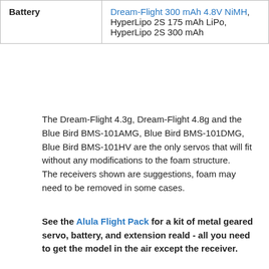| Battery |  |
| --- | --- |
| Battery | Dream-Flight 300 mAh 4.8V NiMH, HyperLipo 2S 175 mAh LiPo, HyperLipo 2S 300 mAh |
The Dream-Flight 4.3g, Dream-Flight 4.8g and the Blue Bird BMS-101AMG, Blue Bird BMS-101DMG, Blue Bird BMS-101HV are the only servos that will fit without any modifications to the foam structure.
The receivers shown are suggestions, foam may need to be removed in some cases.
See the Alula Flight Pack for a kit of metal geared servo, battery, and extension reald - all you need to get the model in the air except the receiver.
[Figure (screenshot): YouTube video thumbnail showing Dream-Flight Alula-TREK flying against a cloudy sky background, with a dark top bar showing the channel logo and title 'Dream-Flight Alula-TREK, Go An...' with three-dot menu, and a red YouTube play button at the bottom center.]